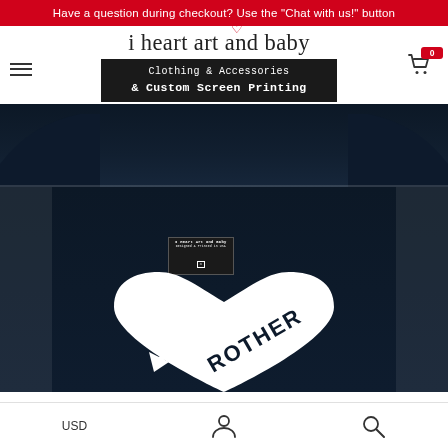Have a question during checkout? Use the "Chat with us!" button
[Figure (logo): i heart art and baby logo with heart icon above the 't', and a dark badge reading 'Clothing & Accessories & Custom Screen Printing']
[Figure (photo): Dark navy t-shirt product photo (top portion showing collar/shoulders)]
[Figure (photo): Dark navy t-shirt back view with 'I Heart Art and Baby / Designed & Printed in USA' label and a large white heart with arrow graphic and 'BROTHER' text on the lower portion]
USD | Account | Search